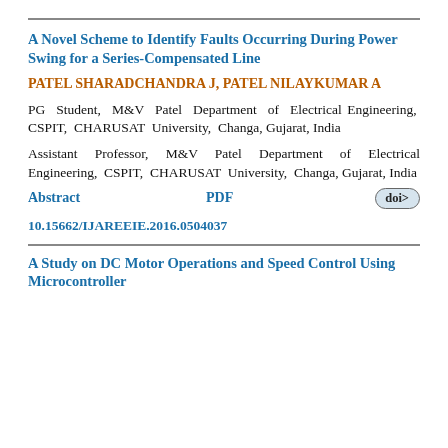A Novel Scheme to Identify Faults Occurring During Power Swing for a Series-Compensated Line
PATEL SHARADCHANDRA J, PATEL NILAYKUMAR A
PG Student, M&V Patel Department of Electrical Engineering, CSPIT, CHARUSAT University, Changa, Gujarat, India
Assistant Professor, M&V Patel Department of Electrical Engineering, CSPIT, CHARUSAT University, Changa, Gujarat, India
Abstract    PDF    doi>  10.15662/IJAREEIE.2016.0504037
A Study on DC Motor Operations and Speed Control Using Microcontroller